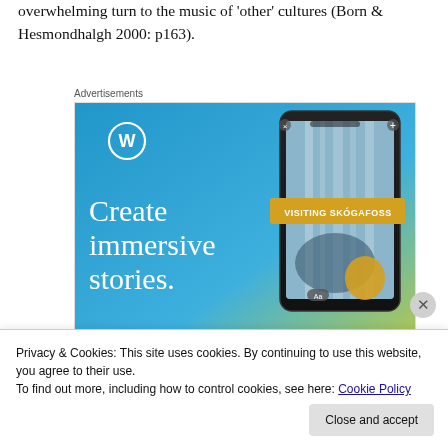overwhelming turn to the music of 'other' cultures (Born & Hesmondhalgh 2000: p163).
Advertisements
[Figure (illustration): WordPress advertisement banner with blue-to-yellow gradient background, WordPress logo (W in circle), text 'Create immersive stories.' in white, and a smartphone showing a photo of a waterfall with 'VISITING SKÓGAFOSS' overlay label.]
Privacy & Cookies: This site uses cookies. By continuing to use this website, you agree to their use.
To find out more, including how to control cookies, see here: Cookie Policy
Close and accept